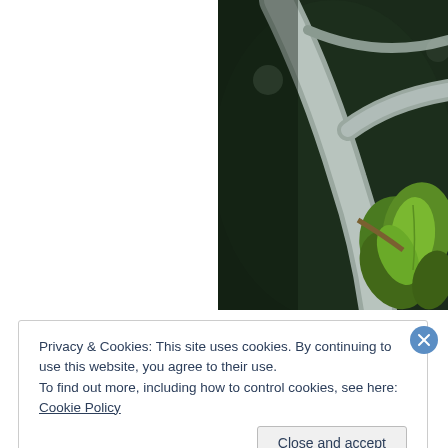[Figure (photo): Close-up photograph of green leaves and grey tree branches against a dark background]
Privacy & Cookies: This site uses cookies. By continuing to use this website, you agree to their use.
To find out more, including how to control cookies, see here: Cookie Policy
Close and accept